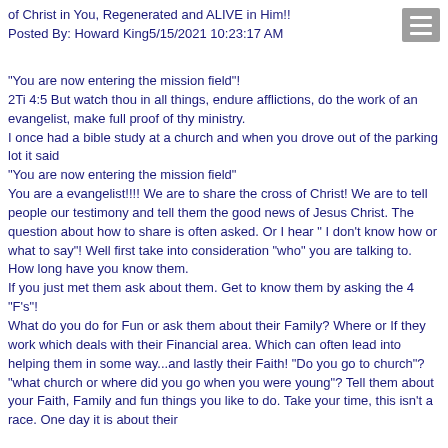of Christ in You, Regenerated and ALIVE in Him!!
Posted By: Howard King5/15/2021 10:23:17 AM
"You are now entering the mission field"!
2Ti 4:5 But watch thou in all things, endure afflictions, do the work of an evangelist, make full proof of thy ministry.
I once had a bible study at a church and when you drove out of the parking lot it said
"You are now entering the mission field"
You are a evangelist!!!! We are to share the cross of Christ! We are to tell people our testimony and tell them the good news of Jesus Christ. The question about how to share is often asked. Or I hear " I don't know how or what to say"! Well first take into consideration "who" you are talking to. How long have you know them.
If you just met them ask about them. Get to know them by asking the 4 "F's"!
What do you do for Fun or ask them about their Family? Where or If they work which deals with their Financial area. Which can often lead into helping them in some way...and lastly their Faith! "Do you go to church"? "what church or where did you go when you were young"? Tell them about your Faith, Family and fun things you like to do. Take your time, this isn't a race. One day it is about their